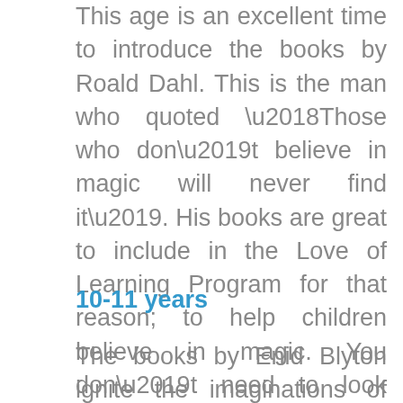This age is an excellent time to introduce the books by Roald Dahl. This is the man who quoted ‘Those who don’t believe in magic will never find it’. His books are great to include in the Love of Learning Program for that reason; to help children believe in magic. You don’t need to look much further than Willy Wonka for an excellent read. Other titles worth bringing include The Fantastic Mr Fox, George’s Marvellous Medicine and Matilda.
10-11 years
The books by Enid Blyton ignite the imaginations of children at this age.